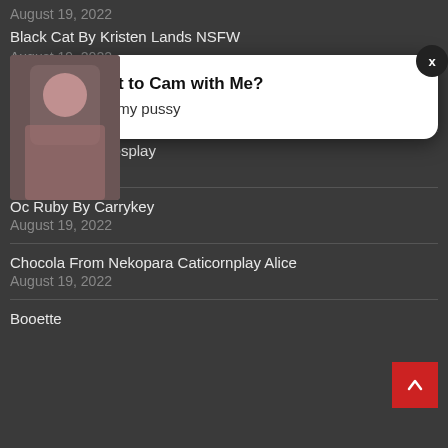August 19, 2022
Black Cat By Kristen Lands NSFW
August 19, 2022
Game Sinoalice Alice Cosplay By Adhayracosplay
August 19, 2022
Jessica Luna Cosplay
August 19, 2022
Oc Ruby By Carrykey
August 19, 2022
Chocola From Nekopara Caticornplay Alice
August 19, 2022
Booette
[Figure (screenshot): Popup advertisement with thumbnail image of a woman, close button (x), lips emoji icon, bold text 'Want to Cam with Me?', and subtext 'Cum see my pussy']